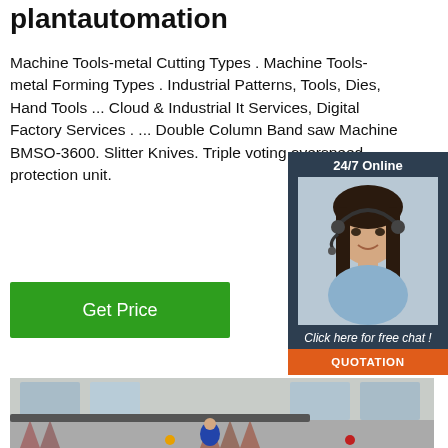plantautomation
Machine Tools-metal Cutting Types . Machine Tools-metal Forming Types . Industrial Patterns, Tools, Dies, Hand Tools ... Cloud & Industrial It Services, Digital Factory Services . ... Double Column Band saw Machine BMSO-3600. Slitter Knives. Triple voting overspeed protection unit.
[Figure (photo): Chat widget with 24/7 Online banner, photo of a woman with headset smiling, 'Click here for free chat!' text, and an orange QUOTATION button]
[Figure (photo): Interior of an industrial factory/workshop with large windows, curtains, and equipment visible]
Get Price